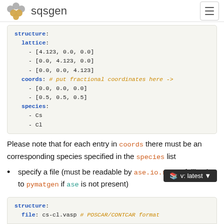sqsgen
[Figure (screenshot): Code block showing YAML structure with structure, lattice, coords, and species keys. coords comment: # put fractional coordinates here ->]
Please note that for each entry in coords there must be an corresponding species specified in the species list
specify a file (must be readable by ase.io.read , fallback to pymatgen if ase is not present)
[Figure (screenshot): Code block showing structure: file: cs-cl.vasp # POSCAR/CONTCAR format]